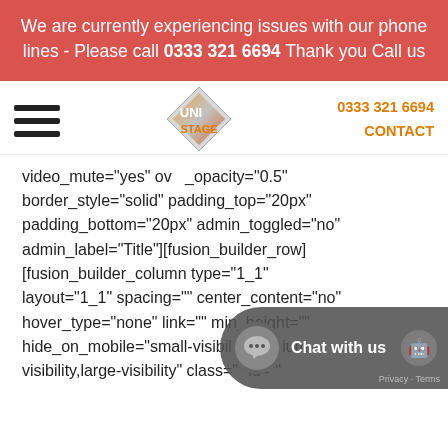We are currently experiencing issues with our phone lines - Please call 0333 321 6694 Thank you  [Call us]
[Figure (logo): Uni Stage diamond logo with orange and grey text]
0333 321 6694
CONTACT
video_mute="yes" ov  _opacity="0.5" border_style="solid" padding_top="20px" padding_bottom="20px" admin_toggled="no" admin_label="Title"][fusion_builder_row] [fusion_builder_column type="1_1" layout="1_1" spacing="" center_content="no" hover_type="none" link="" min_height="" hide_on_mobile="small-visibility,medium-visibility,large-visibility" class="" id="" background_color="" background_image="" background_position="left top" background_repeat="no-repeat"